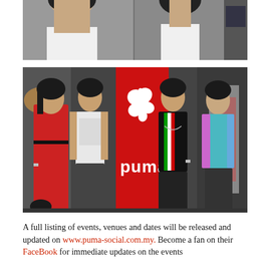[Figure (photo): Cropped photo showing two people in white shirts from shoulders/torso, with a third person partially visible on the right edge]
[Figure (photo): Four people posing in front of a red PUMA banner/rollup stand. A woman in a red dress on the left, a man in white graphic tee, a man in black Ferrari shirt, and a woman in teal top with colorful jacket on the right.]
A full listing of events, venues and dates will be released and updated on www.puma-social.com.my. Become a fan on their FaceBook for immediate updates on the events